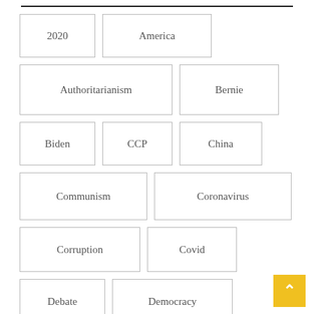2020
America
Authoritarianism
Bernie
Biden
CCP
China
Communism
Coronavirus
Corruption
Covid
Debate
Democracy
Discussion
DPP
Election
Elections